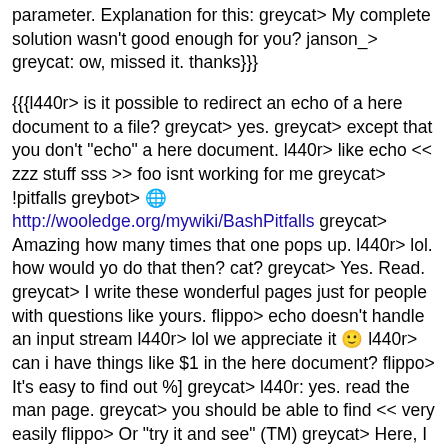parameter. Explanation for this: greycat> My complete solution wasn't good enough for you? janson_> greycat: ow, missed it. thanks}}}
{{{l440r> is it possible to redirect an echo of a here document to a file? greycat> yes. greycat> except that you don't "echo" a here document. l440r> like echo << zzz stuff sss >> foo isnt working for me greycat> !pitfalls greybot> 🌐 http://wooledge.org/mywiki/BashPitfalls greycat> Amazing how many times that one pops up. l440r> lol. how would yo do that then? cat? greycat> Yes. Read. greycat> I write these wonderful pages just for people with questions like yours. flippo> echo doesn't handle an input stream l440r> lol we appreciate it 🙂 l440r> can i have things like $1 in the here document? flippo> It's easy to find out %] greycat> l440r: yes. read the man page. greycat> you should be able to find << very easily flippo> Or "try it and see" (TM) greycat> Here, I think the bot even has it. greycat> !<< greybot> Here documents. cat <<EOF followed by several lines of text, followed by the literal string EOF on a new line, NOT indented. The portion between the EOFs is passed to the command as standard input. If 'EOF' is 'quoted', substitutions WON'T be done; usually they are. l440r> ok the cat of teh here document worked but it echo'd it to the dispay tho >> some file didnt work greycat> you probably